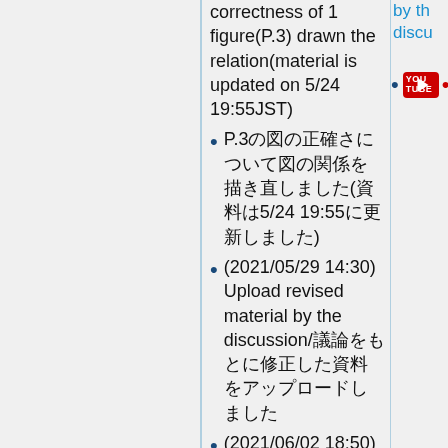correctness of 1 figure(P.3) drawn the relation(material is updated on 5/24 19:55JST)
P.3の図の正確さについて図の関係を描き直しました(資料は5/24 19:55に更新しました)
(2021/05/29 14:30) Upload revised material by the discussion/議論をもとに修正した資料をアップロードしました
(2021/06/02 18:50) Upload rev.4, minor update to add